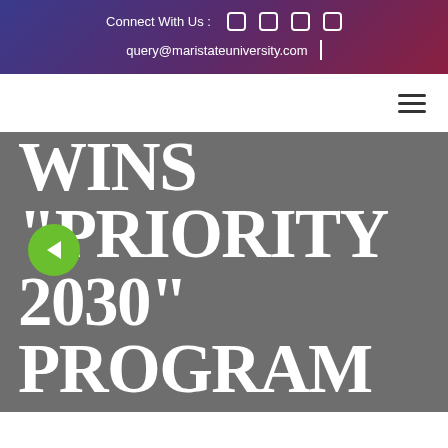Connect With Us : [icons] query@maristateuniversity.com
[Figure (other): Navigation bar with hamburger menu icon on right]
MARI STATE UNIVERSITY WINS "PRIORITY 2030" PROGRAM